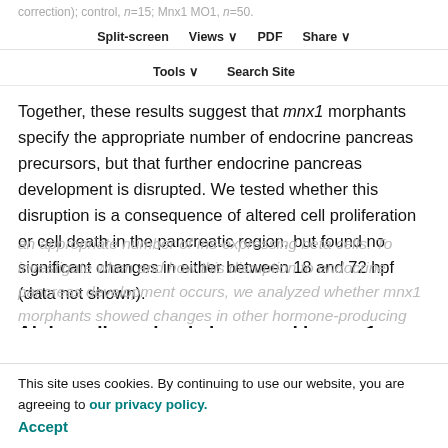correction); control, n=15; Mnx1 MO1, n=50.
Split-screen  Views  PDF  Share  Tools  Search Site
Together, these results suggest that mnx1 morphants specify the appropriate number of endocrine pancreas precursors, but that further endocrine pancreas development is disrupted. We tested whether this disruption is a consequence of altered cell proliferation or cell death in the pancreatic region, but found no significant changes in either between 18 and 72 hpf (data not shown).
Alpha cell number is increased in mnx1 morphants
Although mnx1 morphants possess the normal complement of endocrine precursors, they fail to produce an appropriate number of Ins-expressing beta cells. To investigate when and how this disruption to endocrine pancreas development occurs, we analyzed whether mnx1 morphants showed changes in other hormone-producing
This site uses cookies. By continuing to use our website, you are agreeing to our privacy policy.
Accept